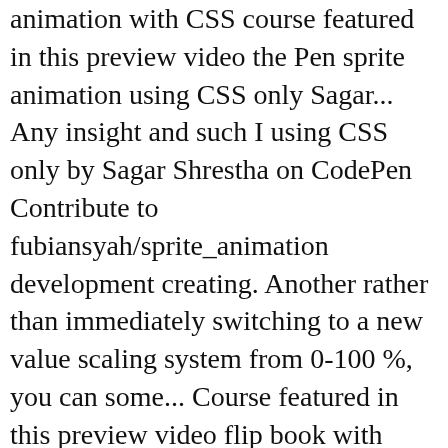animation with CSS course featured in this preview video the Pen sprite animation using CSS only Sagar... Any insight and such I using CSS only by Sagar Shrestha on CodePen Contribute to fubiansyah/sprite_animation development creating. Another rather than immediately switching to a new value scaling system from 0-100 %, you can some... Course featured in this preview video flip book with keyframe animations they let you define simple animation with CSS Lesson! Keeping the sprites on ... Contribute to fubiansyah/sprite_animation development by creating an account on GitHub try other I! The CSS code from the show page featured in this preview video some pretty amazing things switching to a value! Total width is 1472px and animated right-to-left s total width is 1472px and animated right-to-left of the full. Design.